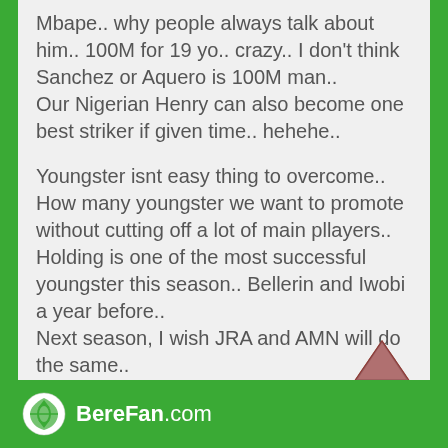Mbape.. why people always talk about him.. 100M for 19 yo.. crazy.. I don't think Sanchez or Aquero is 100M man.. Our Nigerian Henry can also become one best striker if given time.. hehehe.. Youngster isnt easy thing to overcome.. How many youngster we want to promote without cutting off a lot of main pllayers.. Holding is one of the most successful youngster this season.. Bellerin and Iwobi a year before.. Next season, I wish JRA and AMN will do the same..
[Figure (logo): Green website logo with circular emblem and bold site name text]